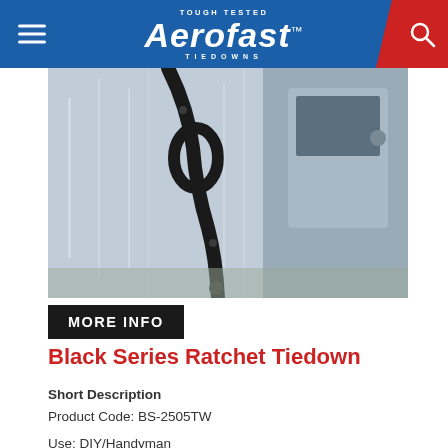Aerofast Tiedowns — Tough Tested
[Figure (photo): Black ratchet tiedown strap hooked to a vehicle, with white wrapped cargo visible in background and a white truck/van door visible on the right side.]
MORE INFO
Black Series Ratchet Tiedown
Short Description
Product Code: BS-2505TW

Use: DIY/Handyman
Break Strength: 750kg